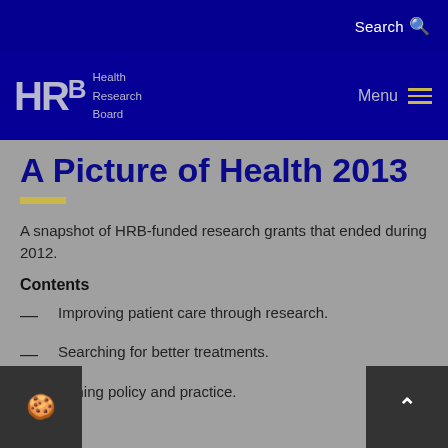Search
[Figure (logo): HRB Health Research Board logo with text]
A Picture of Health 2013
A snapshot of HRB-funded research grants that ended during 2012.
Contents
Improving patient care through research.
Searching for better treatments.
orming policy and practice.